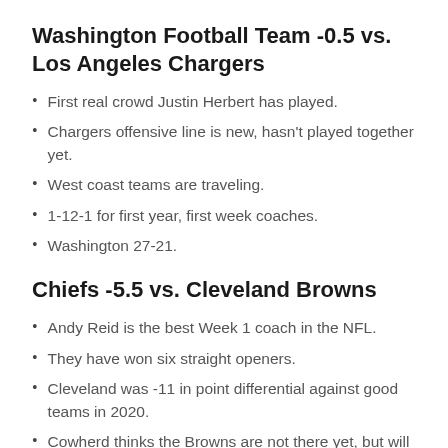Washington Football Team -0.5 vs. Los Angeles Chargers
First real crowd Justin Herbert has played.
Chargers offensive line is new, hasn't played together yet.
West coast teams are traveling.
1-12-1 for first year, first week coaches.
Washington 27-21.
Chiefs -5.5 vs. Cleveland Browns
Andy Reid is the best Week 1 coach in the NFL.
They have won six straight openers.
Cleveland was -11 in point differential against good teams in 2020.
Cowherd thinks the Browns are not there yet, but will be by Thanksgiving.